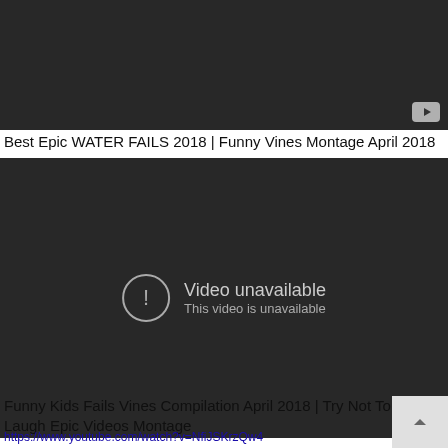[Figure (screenshot): Dark video thumbnail with YouTube icon at bottom right, partially visible at top of page]
Best Epic WATER FAILS 2018 | Funny Vines Montage April 2018
[Figure (screenshot): Embedded YouTube video player showing 'Video unavailable - This video is unavailable' message on dark background with YouTube logo bottom right]
Funny Kids Fails Vines Compilation April 2018 | Try Not To Laugh Epic Videos Montage
https://www.youtube.com/watch?v=NfiJSKrzQw4